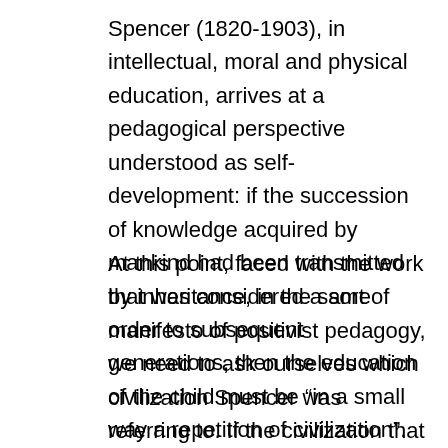Spencer (1820-1903), in intellectual, moral and physical education, arrives at a pedagogical perspective understood as self-development: if the succession of knowledge acquired by mankind had been transmitted by inheritance, in the same order to subsequent generations, then the education of the child must be “in a small way a repetition of civilization”.
At this point, faced with the work that was considered a sort of manifesto of positivist pedagogy, we need to ask ourselves which civilization Spencer was referring to. If the civilization that Spencer had in mind was the one that solved the problem of knowledge as scientific knowledge, that is, as it went beyond subjective impressions and reflections, then it is necessary to